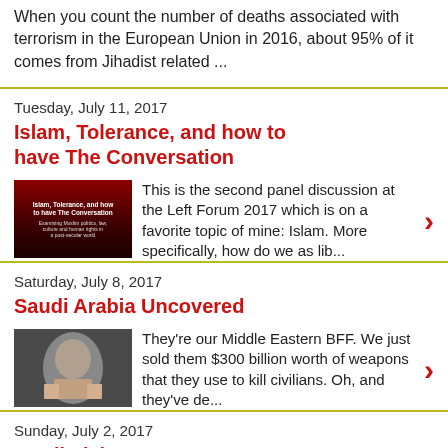When you count the number of deaths associated with terrorism in the European Union in 2016, about 95% of it comes from Jihadist related ...
Tuesday, July 11, 2017
Islam, Tolerance, and how to have The Conversation
This is the second panel discussion at the Left Forum 2017 which is on a favorite topic of mine: Islam. More specifically, how do we as lib...
Saturday, July 8, 2017
Saudi Arabia Uncovered
They're our Middle Eastern BFF. We just sold them $300 billion worth of weapons that they use to kill civilians. Oh, and they've de...
Sunday, July 2, 2017
Muslimish
I attended for the first time the 2017 Muslimish